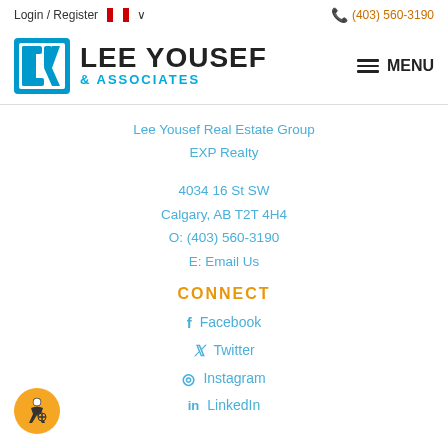Login / Register  🍁  (403) 560-3190
[Figure (logo): Lee Yousef & Associates logo with blue bracket icon and stylized LY letters, company name in bold black and teal]
Lee Yousef Real Estate Group
EXP Realty
4034 16 St SW
Calgary, AB T2T 4H4
O: (403) 560-3190
E: Email Us
CONNECT
Facebook
Twitter
Instagram
LinkedIn